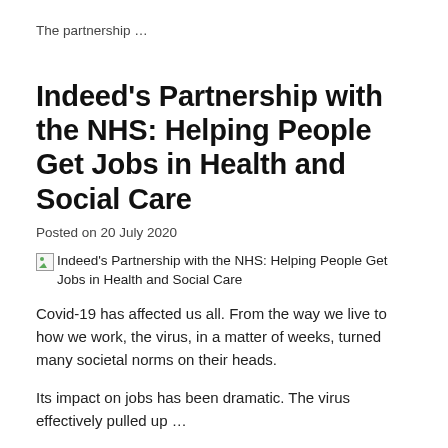The partnership …
Indeed's Partnership with the NHS: Helping People Get Jobs in Health and Social Care
Posted on 20 July 2020
[Figure (photo): Broken image placeholder with alt text: Indeed's Partnership with the NHS: Helping People Get Jobs in Health and Social Care]
Covid-19 has affected us all. From the way we live to how we work, the virus, in a matter of weeks, turned many societal norms on their heads.
Its impact on jobs has been dramatic. The virus effectively pulled up …